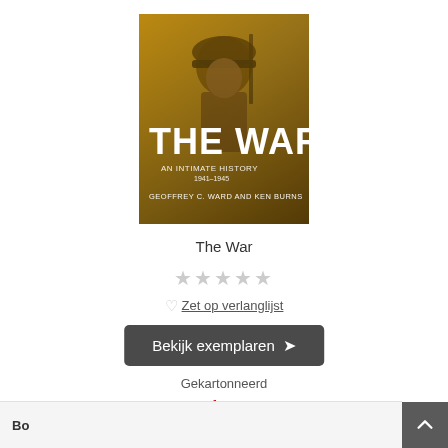[Figure (photo): Book cover of 'The War: An Intimate History 1941-1945' by Geoffrey C. Ward and Ken Burns. Shows a sepia-toned photograph of a soldier wearing a helmet and carrying a rifle, with large bold white text 'THE WAR' and subtitle text below.]
The War
★★★★★ (5 empty stars rating)
♡ Zet op verlanglijst
Bekijk exemplaren ▶
Gekartonneerd
Vanaf € 25,00